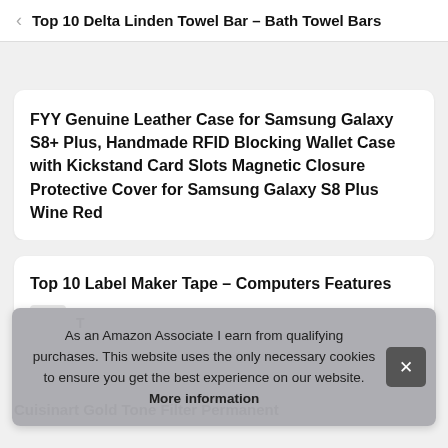< Top 10 Delta Linden Towel Bar – Bath Towel Bars
FYY Genuine Leather Case for Samsung Galaxy S8+ Plus, Handmade RFID Blocking Wallet Case with Kickstand Card Slots Magnetic Closure Protective Cover for Samsung Galaxy S8 Plus Wine Red
Top 10 Label Maker Tape – Computers Features
As an Amazon Associate I earn from qualifying purchases. This website uses the only necessary cookies to ensure you get the best experience on our website. More information
Cuisinart Gold Tone Filter Permanent